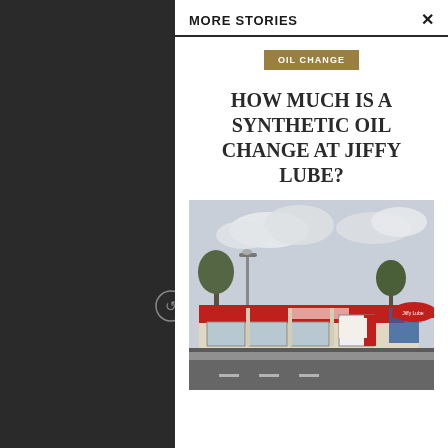MORE STORIES
OIL CHANGE
HOW MUCH IS A SYNTHETIC OIL CHANGE AT JIFFY LUBE?
[Figure (photo): Exterior photo of a Jiffy Lube automotive service station with red and white signage, multiple service bays with glass doors, cloudy sky background, and trees visible.]